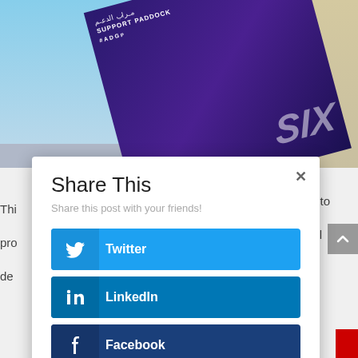[Figure (photo): Photograph of a building with a large purple/dark blue banner reading 'Support Paddock' in English and Arabic, with stylized logo. Blue sky visible on left side.]
Share This
Share this post with your friends!
Twitter
LinkedIn
Facebook